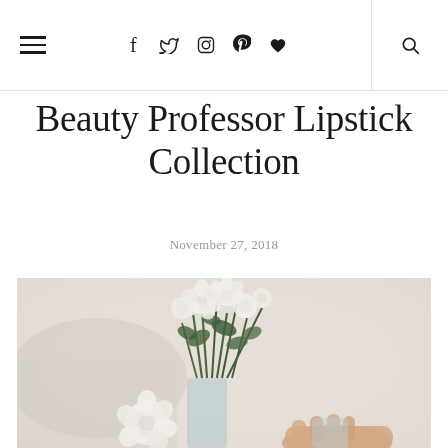☰  f  t  Instagram  Pinterest  ♥  🔍
Beauty Professor Lipstick Collection
November 27, 2018
[Figure (photo): A person holding a glass vase with white roses and green stems in a bright, light-colored room]